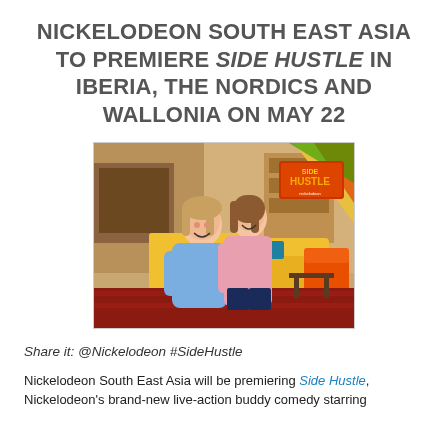NICKELODEON SOUTH EAST ASIA TO PREMIERE SIDE HUSTLE IN IBERIA, THE NORDICS AND WALLONIA ON MAY 22
[Figure (photo): Two young girls smiling and posing in a colorful living room set with the Side Hustle Nickelodeon logo visible in the background]
Share it: @Nickelodeon #SideHustle
Nickelodeon South East Asia will be premiering Side Hustle, Nickelodeon's brand-new live-action buddy comedy starring